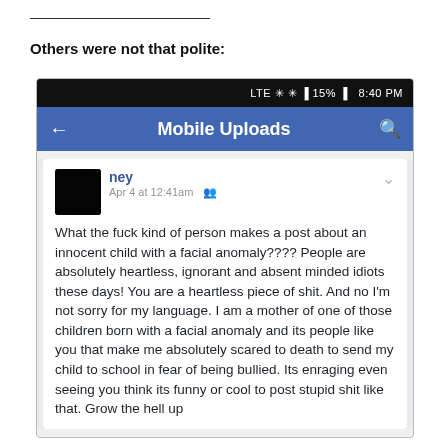Others were not that polite:
[Figure (screenshot): Screenshot of a Facebook mobile app showing a post by a redacted user named 'ney', dated Apr 4 at 12:41am. The post reads: 'What the fuck kind of person makes a post about an innocent child with a facial anomaly???? People are absolutely heartless, ignorant and absent minded idiots these days! You are a heartless piece of shit. And no I'm not sorry for my language. I am a mother of one of those children born with a facial anomaly and its people like you that make me absolutely scared to death to send my child to school in fear of being bullied. Its enraging even seeing you think its funny or cool to post stupid shit like that. Grow the hell up']